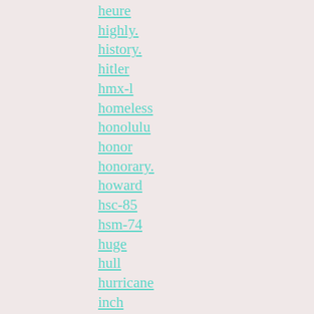heure
highly.
history.
hitler
hmx-l
homeless
honolulu
honor
honorary.
howard
hsc-85
hsm-74
huge
hull
hurricane
inch
inches
infinity.
inflation